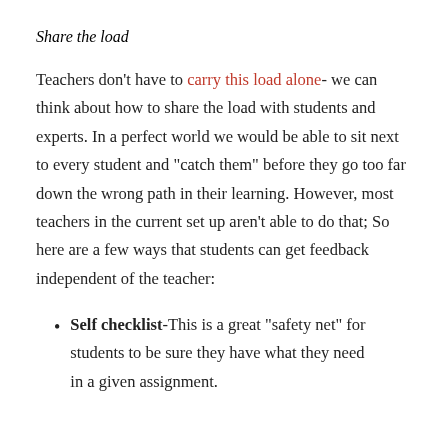Share the load
Teachers don't have to carry this load alone- we can think about how to share the load with students and experts. In a perfect world we would be able to sit next to every student and “catch them” before they go too far down the wrong path in their learning. However, most teachers in the current set up aren’t able to do that; So here are a few ways that students can get feedback independent of the teacher:
Self checklist-This is a great “safety net” for students to be sure they have what they need in a given assignment.